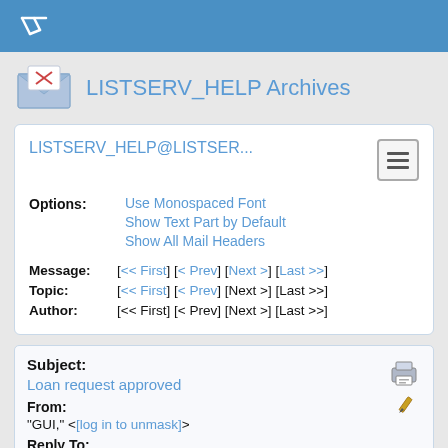LISTSERV_HELP Archives
LISTSERV_HELP@LISTSER...
Options: Use Monospaced Font / Show Text Part by Default / Show All Mail Headers
Message: [<< First] [< Prev] [Next >] [Last >>]
Topic: [<< First] [< Prev] [Next >] [Last >>]
Author: [<< First] [< Prev] [Next >] [Last >>]
Subject:
Loan request approved
From:
"GUI," <[log in to unmask]>
Reply To:
GSHE Help for Listserv <[log in to unmask]>